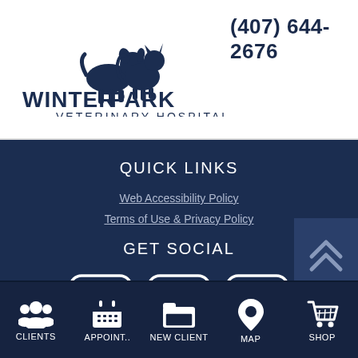[Figure (logo): Winter Park Veterinary Hospital logo with silhouettes of a dog and cat]
(407) 644-2676
QUICK LINKS
Web Accessibility Policy
Terms of Use & Privacy Policy
GET SOCIAL
[Figure (illustration): Facebook, Instagram, and Google social media icons in white rounded square style]
[Figure (illustration): Double chevron scroll-to-top button]
CLIENTS | APPOINT.. | NEW CLIENT | MAP | SHOP